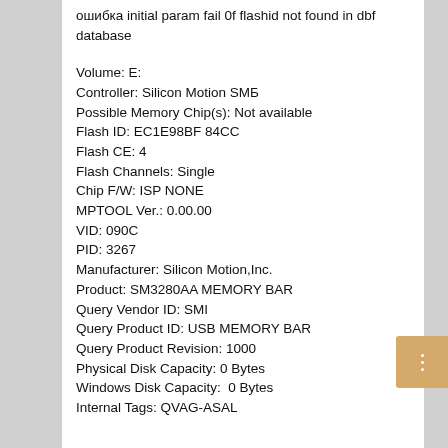ошибка initial param fail 0f flashid not found in dbf database
Volume: E:
Controller: Silicon Motion SMБ
Possible Memory Chip(s): Not available
Flash ID: EC1E98BF 84CC
Flash CE: 4
Flash Channels: Single
Chip F/W: ISP NONE
MPTOOL Ver.: 0.00.00
VID: 090C
PID: 3267
Manufacturer: Silicon Motion,Inc.
Product: SM3280AA MEMORY BAR
Query Vendor ID: SMI
Query Product ID: USB MEMORY BAR
Query Product Revision: 1000
Physical Disk Capacity: 0 Bytes
Windows Disk Capacity:  0 Bytes
Internal Tags: QVAG-ASAL